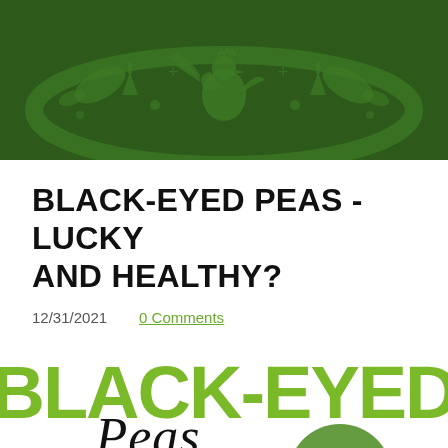[Figure (illustration): Dark green banner with decorative rooster, leaves, carrots, and pea pod motifs in a lighter green tone, forming a website header graphic.]
BLACK-EYED PEAS - LUCKY AND HEALTHY?
12/31/2021    0 Comments
[Figure (infographic): Infographic image with large bold lime-green text reading 'BLACK-EYED' with cursive black text 'Peas' overlapping, and a partial circular green element at bottom.]